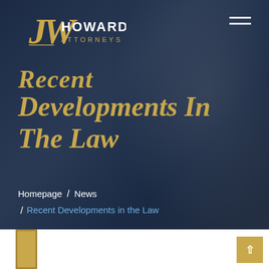[Figure (logo): JW Howard Attorneys logo — stylized JW monogram with 'HOWARD ATTORNEYS' text in gold/white on dark blue background]
Recent Developments In The Law
Homepage / News / Recent Developments in the Law